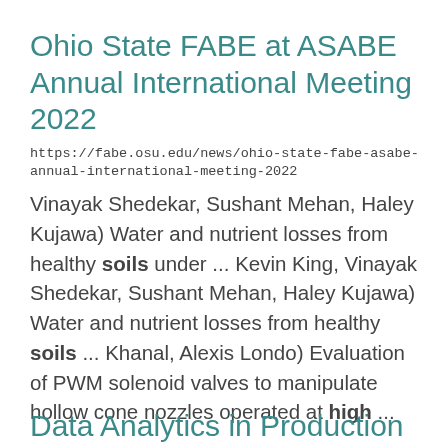Ohio State FABE at ASABE Annual International Meeting 2022
https://fabe.osu.edu/news/ohio-state-fabe-asabe-annual-international-meeting-2022
Vinayak Shedekar, Sushant Mehan, Haley Kujawa) Water and nutrient losses from healthy soils under ... Kevin King, Vinayak Shedekar, Sushant Mehan, Haley Kujawa) Water and nutrient losses from healthy soils ... Khanal, Alexis Londo) Evaluation of PWM solenoid valves to manipulate hollow cone nozzles operated at high ...
Data Analytics in Production